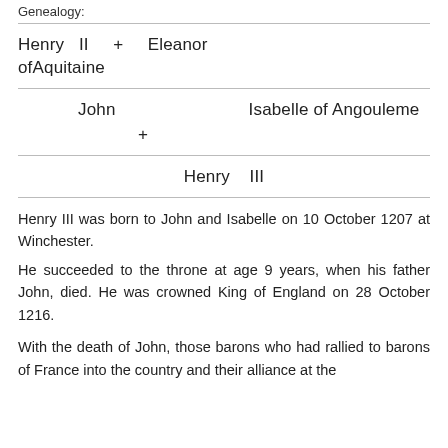Genealogy:
| Henry II + Eleanor ofAquitaine |
| John | Isabelle of Angouleme | + |
| Henry III |
Henry III was born to John and Isabelle on 10 October 1207 at Winchester. He succeeded to the throne at age 9 years, when his father John, died. He was crowned King of England on 28 October 1216.
With the death of John, those barons who had rallied to barons of France into the country and their alliance at the